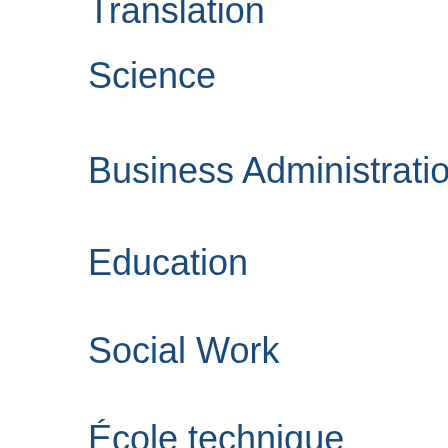Translation
Science
Business Administration
Education
Social Work
École technique